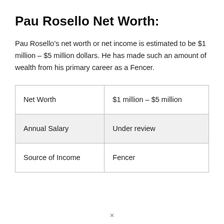Pau Rosello Net Worth:
Pau Rosello’s net worth or net income is estimated to be $1 million – $5 million dollars. He has made such an amount of wealth from his primary career as a Fencer.
| Net Worth | $1 million – $5 million |
| Annual Salary | Under review |
| Source of Income | Fencer |